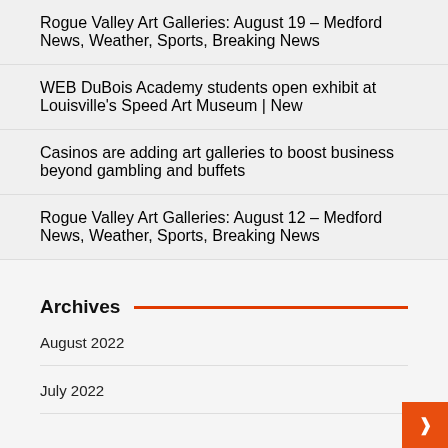Rogue Valley Art Galleries: August 19 – Medford News, Weather, Sports, Breaking News
WEB DuBois Academy students open exhibit at Louisville's Speed Art Museum | New
Casinos are adding art galleries to boost business beyond gambling and buffets
Rogue Valley Art Galleries: August 12 – Medford News, Weather, Sports, Breaking News
Archives
August 2022
July 2022